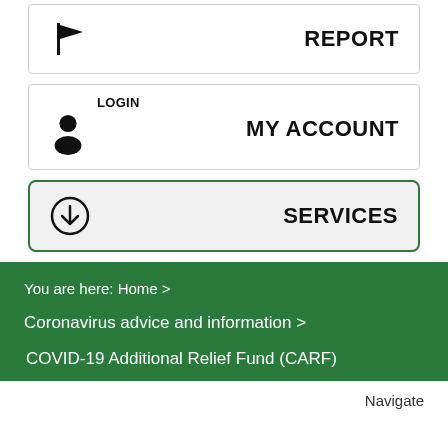[Figure (screenshot): Navigation menu item with flag icon on left and REPORT label on right, inside a bordered box]
[Figure (screenshot): Navigation menu item with LOGIN label and person icon on left and MY ACCOUNT label on right, inside a bordered box]
[Figure (screenshot): Navigation menu item with download circle icon on left and SERVICES label on right, inside a highlighted bordered box with green border]
You are here: Home >
Coronavirus advice and information >
COVID-19 Additional Relief Fund (CARF)
Navigate